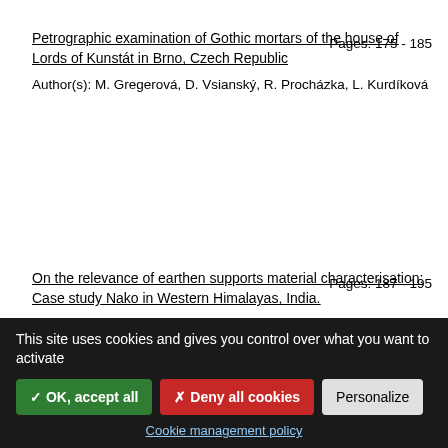Petrographic examination of Gothic mortars of the house of Lords of Kunstát in Brno, Czech Republic
Pages: 175 - 185
Author(s): M. Gregerová, D. Vsianský, R. Procházka, L. Kurdíková
On the relevance of earthen supports material characterisation: Case study Nako in Western Himalayas, India.
Pages: 187 - 195
Author(s): M. Gruber, G. Krist
This site uses cookies and gives you control over what you want to activate